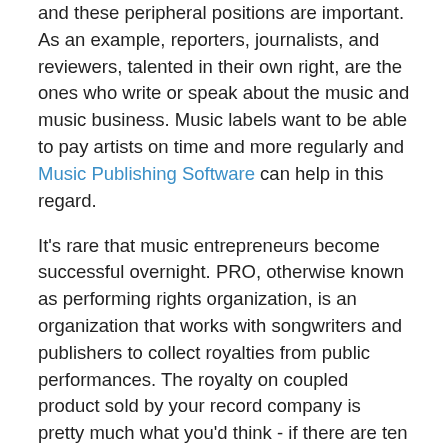and these peripheral positions are important. As an example, reporters, journalists, and reviewers, talented in their own right, are the ones who write or speak about the music and music business. Music labels want to be able to pay artists on time and more regularly and Music Publishing Software can help in this regard.
It's rare that music entrepreneurs become successful overnight. PRO, otherwise known as performing rights organization, is an organization that works with songwriters and publishers to collect royalties from public performances. The royalty on coupled product sold by your record company is pretty much what you'd think - if there are ten cuts on the album and you did one of them, you get one-tenth of your normal royalty; if you did two cuts out of ten, you get 20%, etc. This process is called pro-ration, and you are said to have a pro-rata royalty (meaning your royalty is in proportion to the number of cuts on the